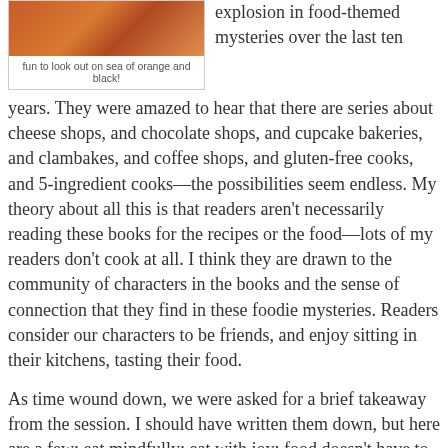[Figure (photo): Photo of children in orange and black themed setting]
fun to look out on sea of orange and black!
explosion in food-themed mysteries over the last ten years. They were amazed to hear that there are series about cheese shops, and chocolate shops, and cupcake bakeries, and clambakes, and coffee shops, and gluten-free cooks, and 5-ingredient cooks—the possibilities seem endless. My theory about all this is that readers aren't necessarily reading these books for the recipes or the food—lots of my readers don't cook at all. I think they are drawn to the community of characters in the books and the sense of connection that they find in these foodie mysteries. Readers consider our characters to be friends, and enjoy sitting in their kitchens, tasting their food.
As time wound down, we were asked for a brief takeaway from the session. I should have written them down, but here are a few: eat mindfully; eat with joy; food doesn't have to be a problem…